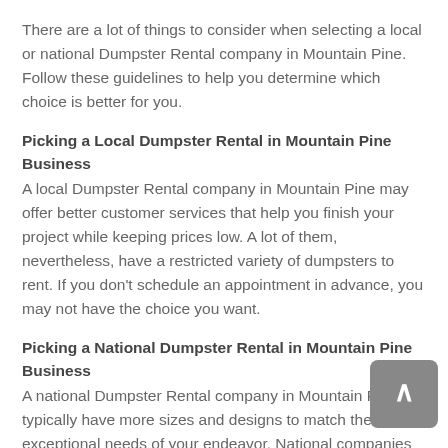There are a lot of things to consider when selecting a local or national Dumpster Rental company in Mountain Pine. Follow these guidelines to help you determine which choice is better for you.
Picking a Local Dumpster Rental in Mountain Pine Business
A local Dumpster Rental company in Mountain Pine may offer better customer services that help you finish your project while keeping prices low. A lot of them, nevertheless, have a restricted variety of dumpsters to rent. If you don't schedule an appointment in advance, you may not have the choice you want.
Picking a National Dumpster Rental in Mountain Pine Business
A national Dumpster Rental company in Mountain Pine will typically have more sizes and designs to match the exceptional needs of your endeavor. National companies are also an excellent option for construction teams that work in many cities. Some people, however, complain that national companies are not as